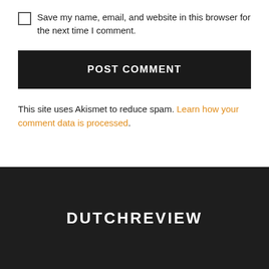Save my name, email, and website in this browser for the next time I comment.
POST COMMENT
This site uses Akismet to reduce spam. Learn how your comment data is processed.
DUTCHREVIEW